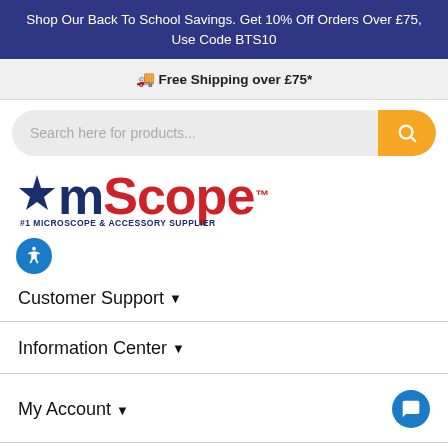Shop Our Back To School Savings. Get 10% Off Orders Over £75, Use Code BTS10
🚚 Free Shipping over £75*
[Figure (screenshot): Search bar with orange search button]
[Figure (logo): AmScope logo with star, #1 Microscope & Accessory Supplier tagline]
Customer Support ▾
Information Center ▾
My Account ▾
Company ▾